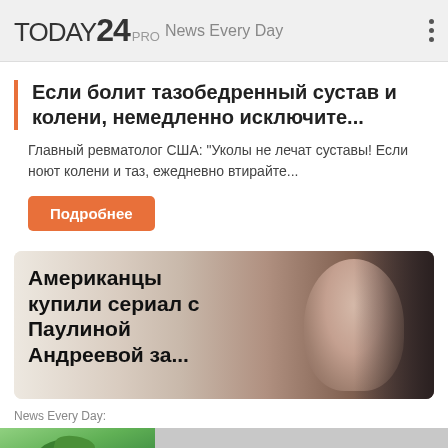TODAY24 PRO  News Every Day
Если болит тазобедренный сустав и колени, немедленно исключите...
Главный ревматолог США: "Уколы не лечат суставы! Если ноют колени и таз, ежедневно втирайте..."
Подробнее
[Figure (photo): Advertisement banner: woman with blonde bob haircut, text 'Американцы купили сериал с Паулиной Андреевой за...' with girafio logo]
News Every Day:
Разрушаем мифы про удаленку и фриланс